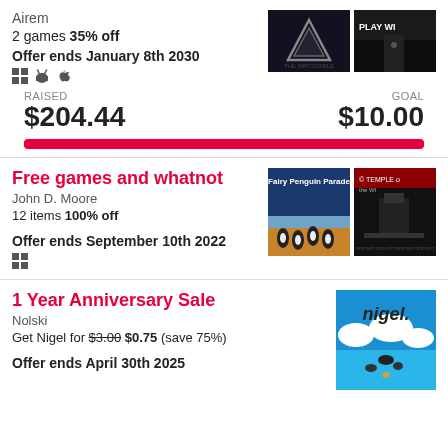Airem
2 games 35% off
Offer ends January 8th 2030
RAISED $204.44   GOAL $10.00
[Figure (infographic): Progress bar showing raised $204.44 of $10.00 goal, fully filled in red]
Free games and whatnot
John D. Moore
12 items 100% off
Offer ends September 10th 2022
1 Year Anniversary Sale
Nolski
Get Nigel for $3.00 $0.75 (save 75%)
Offer ends April 30th 2025